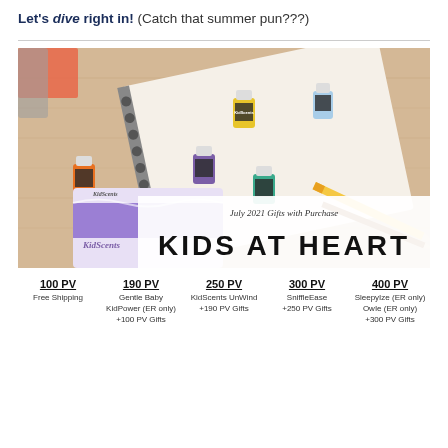Let's dive right in! (Catch that summer pun???)
[Figure (photo): Flat lay photo of KidScents essential oil bottles arranged on a spiral notebook and wooden surface, with pencils. KidScents product box visible in lower left. Overlay text reads: July 2021 Gifts with Purchase — KIDS AT HEART]
100 PV
Free Shipping
190 PV
Gentle Baby
KidPower (ER only)
+100 PV Gifts
250 PV
KidScents UnWind
+190 PV Gifts
300 PV
SniffleEase
+250 PV Gifts
400 PV
SleepyIze (ER only)
OwIe (ER only)
+300 PV Gifts